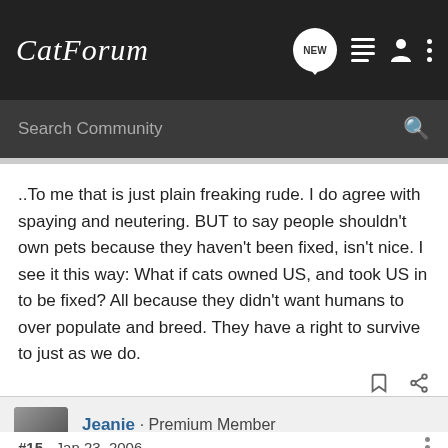CatForum
Search Community
..To me that is just plain freaking rude. I do agree with spaying and neutering. BUT to say people shouldn't own pets because they haven't been fixed, isn't nice. I see it this way: What if cats owned US, and took US in to be fixed? All because they didn't want humans to over populate and breed. They have a right to survive to just as we do.
Jeanie · Premium Member
Joined Jun 17, 2003 · 28,604 Posts
#15 · Jan 23, 2006